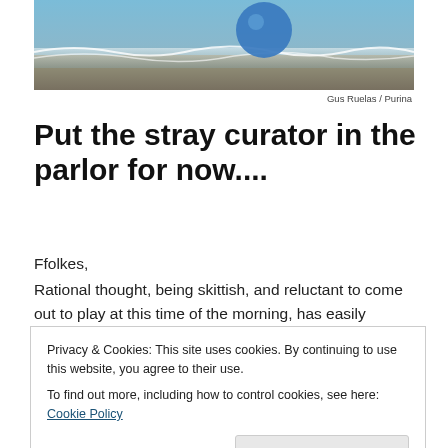[Figure (photo): A blue ball or toy near ocean water with waves and wet sand/mud surface visible.]
Gus Ruelas / Purina
Put the stray curator in the parlor for now....
Ffolkes,
Rational thought, being skittish, and reluctant to come out to play at this time of the morning, has easily escaped my feeble effort to pin it down, in spite of the reservation I made. While the foregone conclusion may well be
Privacy & Cookies: This site uses cookies. By continuing to use this website, you agree to their use.
To find out more, including how to control cookies, see here: Cookie Policy
I've a pile of stuff to take care of today out in the BBH, so